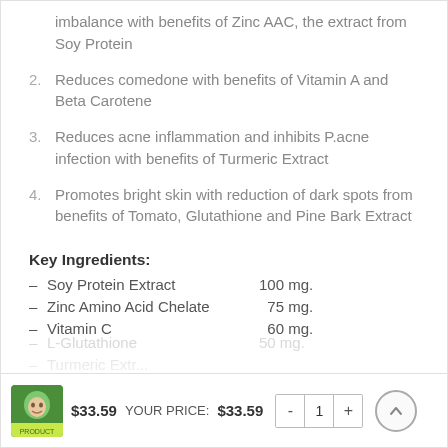imbalance with benefits of Zinc AAC, the extract from Soy Protein
2. Reduces comedone with benefits of Vitamin A and Beta Carotene
3. Reduces acne inflammation and inhibits P.acne infection with benefits of Turmeric Extract
4. Promotes bright skin with reduction of dark spots from benefits of Tomato, Glutathione and Pine Bark Extract
Key Ingredients:
– Soy Protein Extract   100 mg.
– Zinc Amino Acid Chelate   75 mg.
– Vitamin C   60 mg.
– L-Glutathione   50 mg.
– Turmeric Extract
$33.59  YOUR PRICE: $33.59  -  1  +